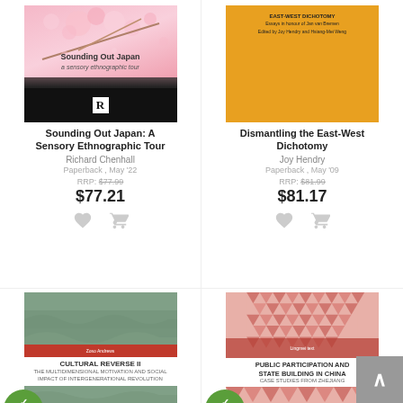[Figure (illustration): Book cover: Sounding Out Japan, pink cherry blossoms top, black bottom with Routledge R logo]
Sounding Out Japan: A Sensory Ethnographic Tour
Richard Chenhall
Paperback , May '22
RRP: $77.99
$77.21
[Figure (illustration): Book cover: Dismantling the East-West Dichotomy, orange/yellow cover with text]
Dismantling the East-West Dichotomy
Joy Hendry
Paperback , May '09
RRP: $81.99
$81.17
[Figure (illustration): Book cover: Cultural Reverse II, green wavy topographic pattern with red bar, 7-10 days badge]
CULTURAL REVERSE II
THE MULTIDIMENSIONAL MOTIVATION AND SOCIAL IMPACT OF INTERGENERATIONAL REVOLUTION
[Figure (illustration): Book cover: Public Participation and State Building in China, red triangle pattern cover, 7-10 days badge]
PUBLIC PARTICIPATION AND STATE BUILDING IN CHINA
CASE STUDIES FROM ZHEJIANG